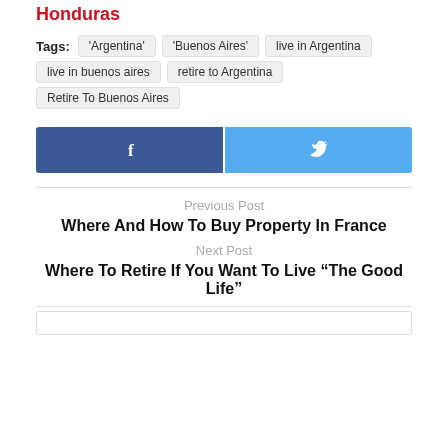Honduras
Tags: 'Argentina'  'Buenos Aires'  live in Argentina  live in buenos aires  retire to Argentina  Retire To Buenos Aires
[Figure (other): Facebook and Twitter social sharing buttons side by side]
Previous Post
Where And How To Buy Property In France
Next Post
Where To Retire If You Want To Live “The Good Life”